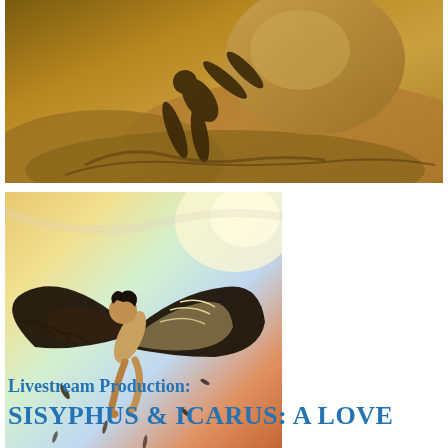[Figure (illustration): Mythological illustration of Sisyphus pushing a large boulder up rocky terrain, rendered in sepia/golden tones. Silhouetted muscular figure straining against a massive round rock on a rocky surface.]
[Figure (illustration): Colorful illustration of Icarus falling from the sky with large dark wings spread, feathers falling, against a warm orange and yellow sky background.]
Livestream Production:
SISYPHUS & ICARUS: A LOVE